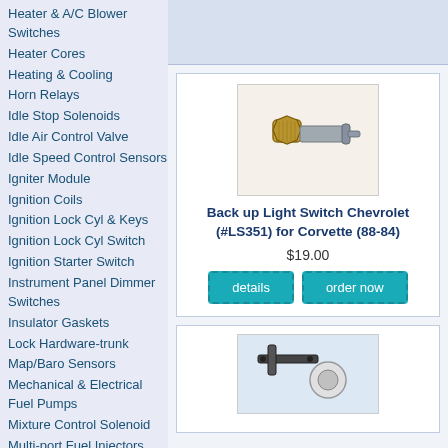Heater & A/C Blower Switches
Heater Cores
Heating & Cooling
Horn Relays
Idle Stop Solenoids
Idle Air Control Valve
Idle Speed Control Sensors
Igniter Module
Ignition Coils
Ignition Lock Cyl & Keys
Ignition Lock Cyl Switch
Ignition Starter Switch
Instrument Panel Dimmer Switches
Insulator Gaskets
Lock Hardware-trunk
Map/Baro Sensors
Mechanical & Electrical Fuel Pumps
Mixture Control Solenoid
Multi-port Fuel Injectors
Neutral Safety Switch
Oil Filters
Oil Level Sensor/Switch
Oil Pressure Gauge
Oil Pressure
[Figure (photo): Back up light switch part photo - small brass/metal threaded switch component]
Back up Light Switch Chevrolet (#LS351) for Corvette (88-84)
$19.00
[Figure (photo): Second product photo - automotive part bracket/switch component]